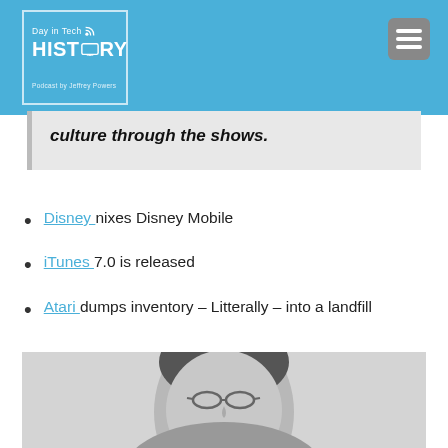[Figure (logo): Day in Tech HISTORY podcast logo on blue background with menu icon]
culture through the shows.
Disney nixes Disney Mobile
iTunes 7.0 is released
Atari dumps inventory – Litterally – into a landfill
[Figure (photo): Black and white photo of a man with glasses, partial face visible]